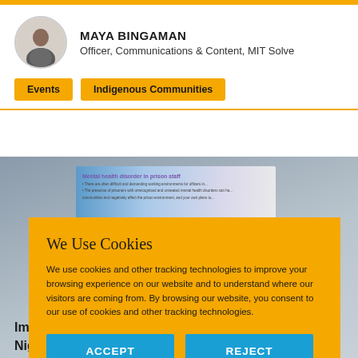MAYA BINGAMAN
Officer, Communications & Content, MIT Solve
Events
Indigenous Communities
[Figure (photo): Background image of a person presenting in front of a slide titled 'Mental health disorder in prison staff']
We Use Cookies
We use cookies and other tracking technologies to improve your browsing experience on our website and to understand where our visitors are coming from. By browsing our website, you consent to our use of cookies and other tracking technologies.
ACCEPT
REJECT
Im...
Nig...